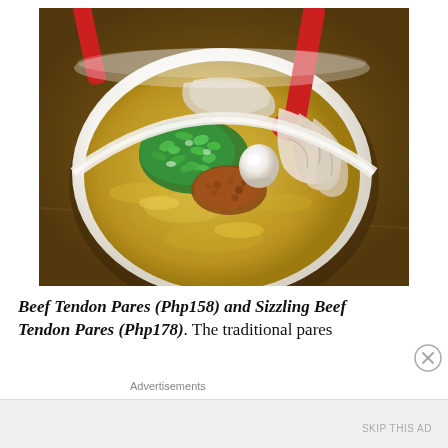[Figure (photo): A white ceramic bowl filled with Filipino pares dish — a congee/porridge base topped with sliced beef tendon, chopped green onions, a quail egg, fried garlic bits, and a red plastic spoon resting in the bowl. The bowl is set on a wooden table surface.]
Beef Tendon Pares (Php158) and Sizzling Beef Tendon Pares (Php178). The traditional pares
Advertisements